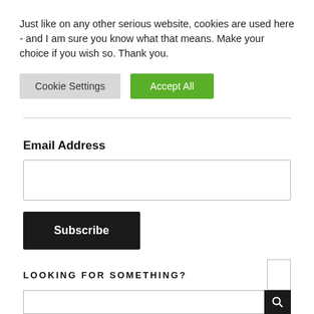Just like on any other serious website, cookies are used here - and I am sure you know what that means. Make your choice if you wish so. Thank you.
Cookie Settings | Accept All
Email Address
[Figure (other): Empty text input field for email address]
Subscribe
LOOKING FOR SOMETHING?
[Figure (other): Search input field with dark search button]